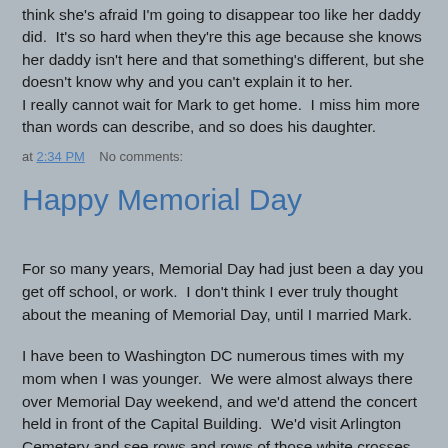think she's afraid I'm going to disappear too like her daddy did.  It's so hard when they're this age because she knows her daddy isn't here and that something's different, but she doesn't know why and you can't explain it to her.
I really cannot wait for Mark to get home.  I miss him more than words can describe, and so does his daughter.
at 2:34 PM   No comments:
Happy Memorial Day
For so many years, Memorial Day had just been a day you get off school, or work.  I don't think I ever truly thought about the meaning of Memorial Day, until I married Mark.
I have been to Washington DC numerous times with my mom when I was younger.  We were almost always there over Memorial Day weekend, and we'd attend the concert held in front of the Capital Building.  We'd visit Arlington Cemetery and see rows and rows of those white crosses,